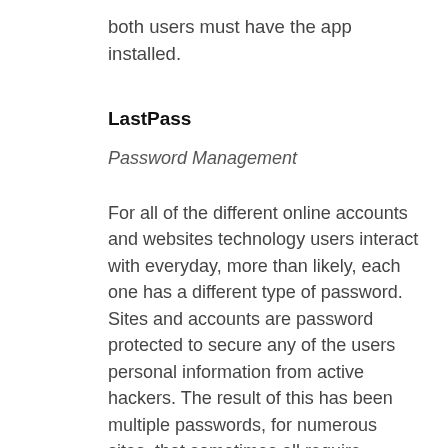both users must have the app installed.
LastPass
Password Management
For all of the different online accounts and websites technology users interact with everyday, more than likely, each one has a different type of password.  Sites and accounts are password protected to secure any of the users personal information from active hackers. The result of this has been multiple passwords, for numerous sites, that sometimes all require different password specifications in order to ensure users are creating strong passwords.  LastPass was created by developers to ease the pain of multiple passwords and having to continuously click the “forgot my password” button.  The app will generate complex and secure passwords for all of